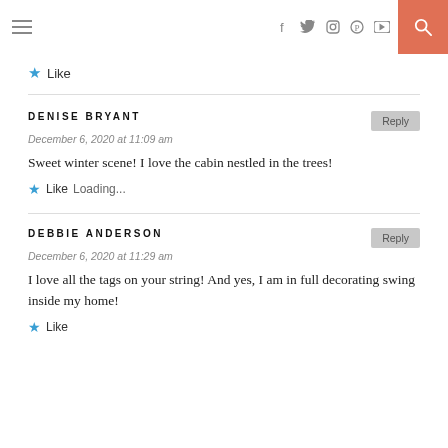Navigation header with hamburger menu, social icons (f, twitter, instagram, pinterest, youtube), and search button
★ Like
DENISE BRYANT
December 6, 2020 at 11:09 am
Sweet winter scene! I love the cabin nestled in the trees!
★ Like Loading...
DEBBIE ANDERSON
December 6, 2020 at 11:29 am
I love all the tags on your string! And yes, I am in full decorating swing inside my home!
★ Like